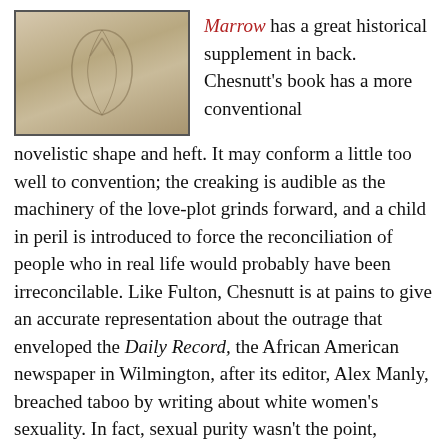[Figure (photo): Faded photograph or book cover showing a pale, textured organic form against a light background, bordered by a dark frame.]
Marrow has a great historical supplement in back. Chesnutt's book has a more conventional novelistic shape and heft. It may conform a little too well to convention; the creaking is audible as the machinery of the love-plot grinds forward, and a child in peril is introduced to force the reconciliation of people who in real life would probably have been irreconcilable. Like Fulton, Chesnutt is at pains to give an accurate representation about the outrage that enveloped the Daily Record, the African American newspaper in Wilmington, after its editor, Alex Manly, breached taboo by writing about white women's sexuality. In fact, sexual purity wasn't the point, Chesnutt writes: “A peg was needed upon which to hang a coup d’état.” Instead of attempting a full representation of the racial violence that broke out in the city, Chesnutt draws an em dash and makes an aposiopesis: after noting that on the day of the